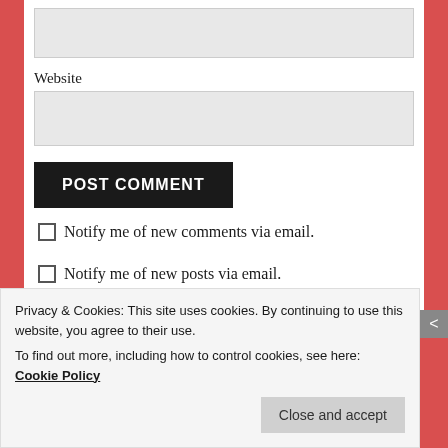Website
POST COMMENT
Notify me of new comments via email.
Notify me of new posts via email.
PREVIOUS POSTS
Privacy & Cookies: This site uses cookies. By continuing to use this website, you agree to their use.
To find out more, including how to control cookies, see here: Cookie Policy
Close and accept